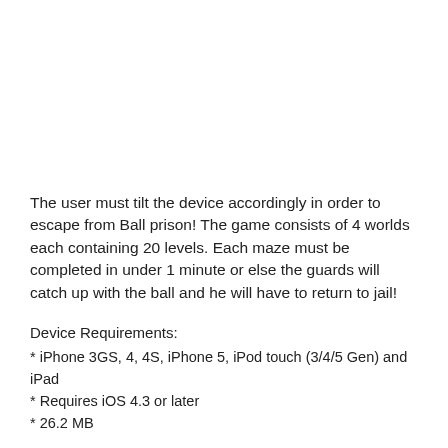The user must tilt the device accordingly in order to escape from Ball prison! The game consists of 4 worlds each containing 20 levels. Each maze must be completed in under 1 minute or else the guards will catch up with the ball and he will have to return to jail!
Device Requirements:
* iPhone 3GS, 4, 4S, iPhone 5, iPod touch (3/4/5 Gen) and iPad
* Requires iOS 4.3 or later
* 26.2 MB